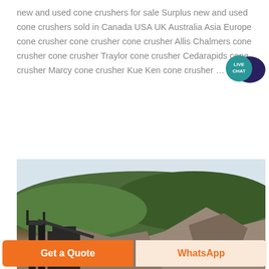new and used cone crushers for sale Surplus new and used cone crushers sold in Canada USA UK Australia Asia Europe cone crusher cone crusher cone crusher Allis Chalmers cone crusher cone crusher Traylor cone crusher Cedarapids cone crusher Marcy cone crusher Kue Ken cone crusher …
[Figure (photo): Outdoor photo of a quarry or mining site with industrial equipment (conveyor/crusher structures) in the foreground and a rocky hillside covered with trees in the background.]
Get a Quote
WhatsApp